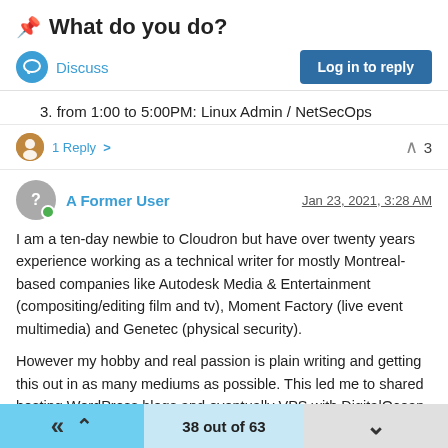📌 What do you do?
Discuss | Log in to reply
3. from 1:00 to 5:00PM: Linux Admin / NetSecOps
1 Reply > ^ 3
A Former User — Jan 23, 2021, 3:28 AM
I am a ten-day newbie to Cloudron but have over twenty years experience working as a technical writer for mostly Montreal-based companies like Autodesk Media & Entertainment (compositing/editing film and tv), Moment Factory (live event multimedia) and Genetec (physical security).
However my hobby and real passion is plain writing and getting this out in as many mediums as possible. This led me to shared hosting WordPress blogs and eventually VPS with DigitalOcean. Along the way I tried to set up and run maybe ten or more apps that are in the
38 out of 63